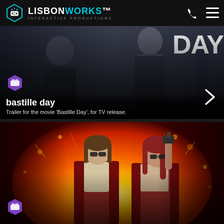LISBONWORKS INTERACTIVE PRODUCTIONS
[Figure (screenshot): Movie promotional image for Bastille Day showing two men in dark clothing with the word DAY visible top right]
bastille day
Trailer for the movie 'Bastille Day', for TV release.
[Figure (screenshot): Movie promotional image for American Ultra showing two young people with sunglasses in front of an explosion with fire and sparks]